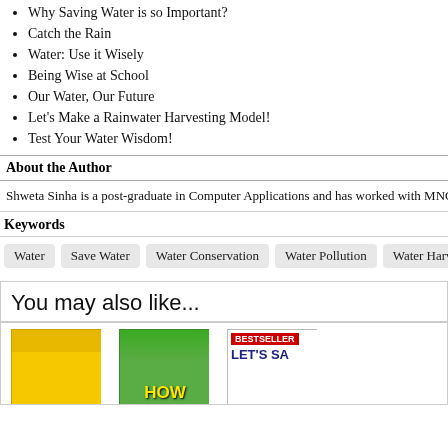Why Saving Water is so Important?
Catch the Rain
Water: Use it Wisely
Being Wise at School
Our Water, Our Future
Let's Make a Rainwater Harvesting Model!
Test Your Water Wisdom!
About the Author
Shweta Sinha is a post-graduate in Computer Applications and has worked with MNCs passion that she pursued by graduating from The Institute of Children's Literature, CT, Adults and Children for five years now. Her articles and stories have been published in the blog, and print magazine like the Women's Era. Her writings are often inspired by nature ar
Keywords
Water | Save Water | Water Conservation | Water Pollution | Water Harvesting | Rain Harve
You may also like...
[Figure (photo): Book cover - yellow]
[Figure (photo): Book cover - HOW green]
[Figure (photo): Book cover - LET'S SA bestseller red/white]